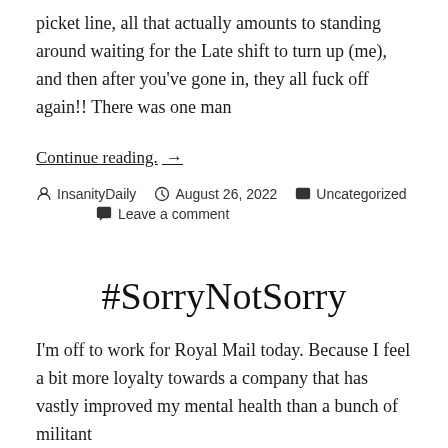picket line, all that actually amounts to standing around waiting for the Late shift to turn up (me), and then after you've gone in, they all fuck off again!! There was one man
Continue reading. →
By InsanityDaily  August 26, 2022  Uncategorized  Leave a comment
#SorryNotSorry
I'm off to work for Royal Mail today. Because I feel a bit more loyalty towards a company that has vastly improved my mental health than a bunch of militant